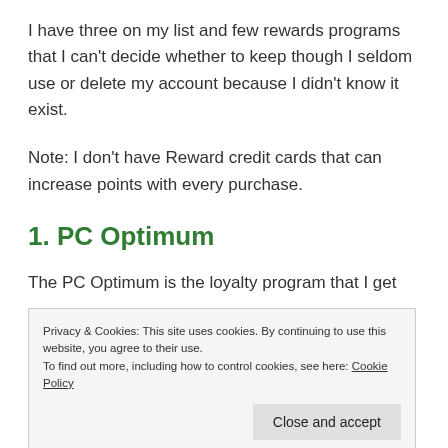I have three on my list and few rewards programs that I can't decide whether to keep though I seldom use or delete my account because I didn't know it exist.
Note: I don't have Reward credit cards that can increase points with every purchase.
1. PC Optimum
The PC Optimum is the loyalty program that I get
Privacy & Cookies: This site uses cookies. By continuing to use this website, you agree to their use.
To find out more, including how to control cookies, see here: Cookie Policy
Close and accept
to this place (you for me siblings)